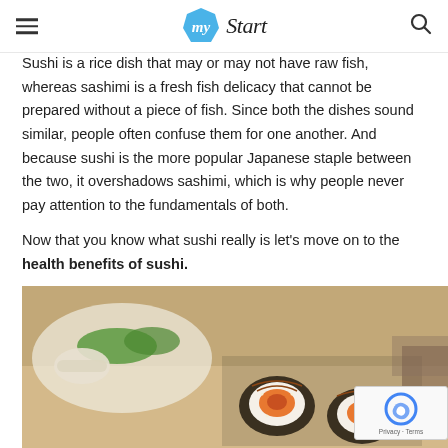my Start
Sushi is a rice dish that may or may not have raw fish, whereas sashimi is a fresh fish delicacy that cannot be prepared without a piece of fish. Since both the dishes sound similar, people often confuse them for one another. And because sushi is the more popular Japanese staple between the two, it overshadows sashimi, which is why people never pay attention to the fundamentals of both.

Now that you know what sushi really is let's move on to the health benefits of sushi.
[Figure (photo): Close-up photo of sushi rolls on a plate with garnish]